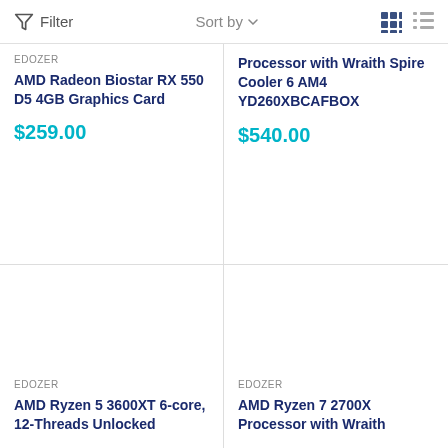Filter   Sort by   [grid view] [list view]
EDOZER
AMD Radeon Biostar RX 550 D5 4GB Graphics Card
$259.00
Processor with Wraith Spire Cooler 6 AM4 YD260XBCAFBOX
$540.00
EDOZER
AMD Ryzen 5 3600XT 6-core, 12-Threads Unlocked
EDOZER
AMD Ryzen 7 2700X Processor with Wraith